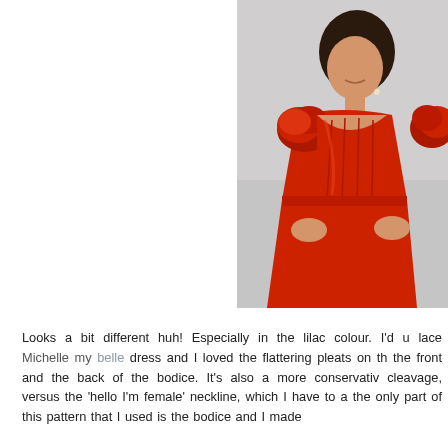[Figure (photo): A woman wearing a red satin dress with ruffled floral sleeves, hands on hips, looking upward and to the side, against a light grey background. The dress has a square/sweetheart neckline with pleated bodice.]
Looks a bit different huh! Especially in the lilac colour. I'd used the lace Michelle my belle dress and I loved the flattering pleats on the front and the back of the bodice. It's also a more conservative cleavage, versus the 'hello I'm female' neckline, which I have to a the only part of this pattern that I used is the bodice and I made